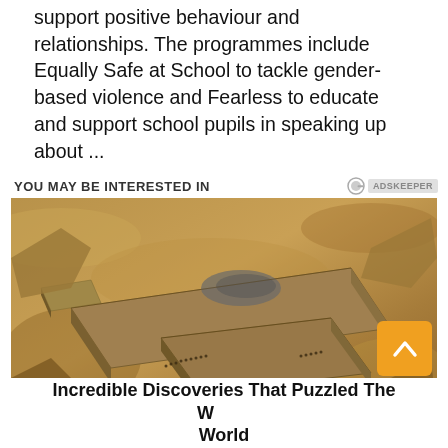support positive behaviour and relationships. The programmes include Equally Safe at School to tackle gender-based violence and Fearless to educate and support school pupils in speaking up about ...
YOU MAY BE INTERESTED IN
[Figure (photo): Aerial photograph of ancient stone structures or ruins partially buried in sandy desert terrain, with small figures of people visible near the structures.]
Incredible Discoveries That Puzzled The Whole World